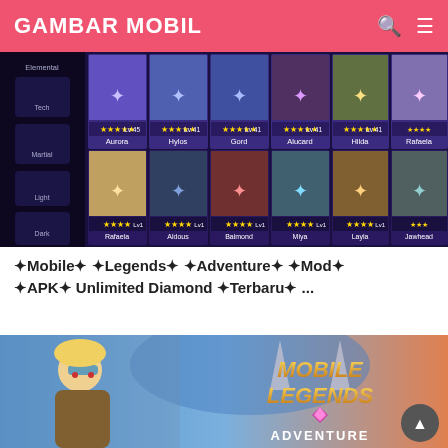GAMBAR MOBIL
[Figure (screenshot): Mobile Legends Adventure game screenshot showing hero roster grid with characters including Aurora, Hylos, Gord, Alucard, Hilda, Rafaela, Rafaela, Aldous, Balmond, Miya, Layla, Jawhead, with elemental categories (Elemental, Tech, Martial, Light, Dark) on the left sidebar]
✦Mobile✦ ✦Legends✦ ✦Adventure✦ ✦Mod✦ ✦APK✦ Unlimited Diamond ✦Terbaru✦ ...
[Figure (screenshot): Mobile Legends Adventure promotional banner featuring a blonde female character with goggles on the left and the Mobile Legends Adventure logo on the right against a blue sky background]